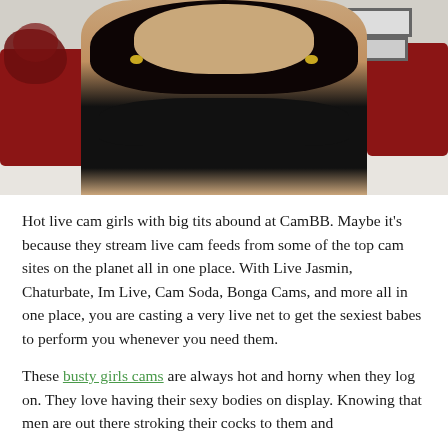[Figure (photo): Webcam photo of a woman with long dark hair wearing a black bra, seated in a bedroom with red pillows, flowers, and wall art visible in the background.]
Hot live cam girls with big tits abound at CamBB. Maybe it's because they stream live cam feeds from some of the top cam sites on the planet all in one place. With Live Jasmin, Chaturbate, Im Live, Cam Soda, Bonga Cams, and more all in one place, you are casting a very live net to get the sexiest babes to perform you whenever you need them.
These busty girls cams are always hot and horny when they log on. They love having their sexy bodies on display. Knowing that men are out there stroking their cocks to them and